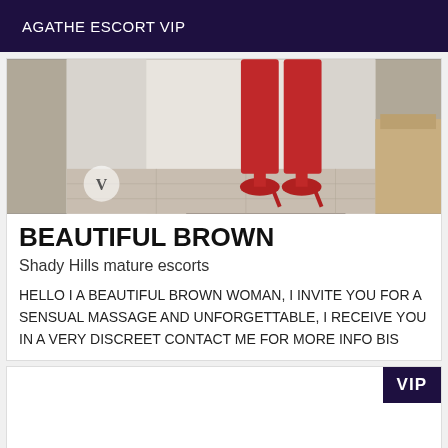AGATHE ESCORT VIP
[Figure (photo): Photo of a woman's lower body wearing red pants and red high heels standing on a dark mat in a room with white curtains and a chair visible to the right. A watermark 'V' logo is visible in the lower left corner.]
BEAUTIFUL BROWN
Shady Hills mature escorts
HELLO I A BEAUTIFUL BROWN WOMAN, I INVITE YOU FOR A SENSUAL MASSAGE AND UNFORGETTABLE, I RECEIVE YOU IN A VERY DISCREET CONTACT ME FOR MORE INFO BIS
[Figure (other): Partially visible listing card with VIP badge in top-right corner]